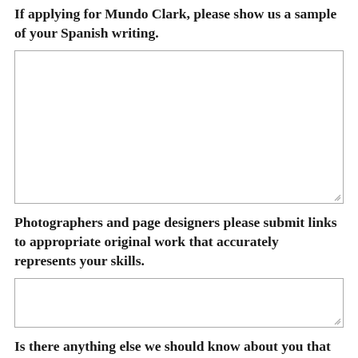[Figure (other): Empty textarea input box (top, partially visible)]
If applying for Mundo Clark, please show us a sample of your Spanish writing.
[Figure (other): Large empty textarea input box for Spanish writing sample]
Photographers and page designers please submit links to appropriate original work that accurately represents your skills.
[Figure (other): Small empty textarea input box for links]
Is there anything else we should know about you that you would like